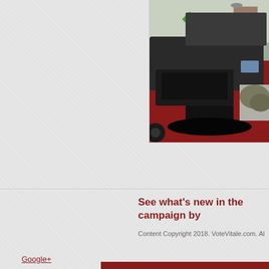[Figure (photo): Photo of the rear of a red pickup truck with a camper shell/cap, trunk open, parked on a street. Background shows a school crossing sign, street, buildings, and bare trees.]
See what's new in the campaign by
Content Copyright 2018. VoteVitale.com. Al
Google+